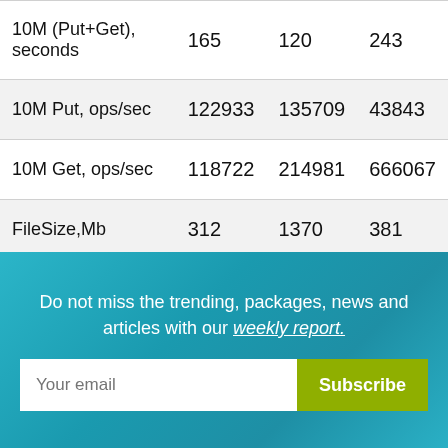| 10M (Put+Get), seconds | 165 | 120 | 243 |
| 10M Put, ops/sec | 122933 | 135709 | 43843 |
| 10M Get, ops/sec | 118722 | 214981 | 666067 |
| FileSize,Mb | 312 | 1370 | 381 |
Do not miss the trending, packages, news and articles with our weekly report.